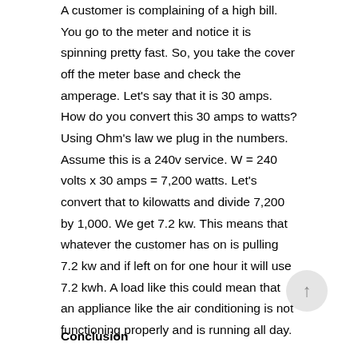A customer is complaining of a high bill. You go to the meter and notice it is spinning pretty fast. So, you take the cover off the meter base and check the amperage. Let's say that it is 30 amps. How do you convert this 30 amps to watts? Using Ohm's law we plug in the numbers. Assume this is a 240v service. W = 240 volts x 30 amps = 7,200 watts. Let's convert that to kilowatts and divide 7,200 by 1,000. We get 7.2 kw. This means that whatever the customer has on is pulling 7.2 kw and if left on for one hour it will use 7.2 kwh. A load like this could mean that an appliance like the air conditioning is not functioning properly and is running all day.
Conclusion